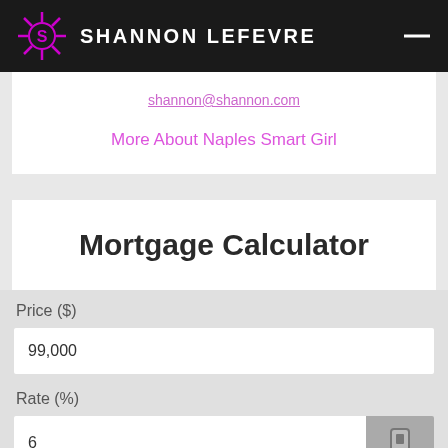SHANNON LEFEVRE
shannon@shannon.com
More About Naples Smart Girl
Mortgage Calculator
Price ($)
99,000
Rate (%)
6